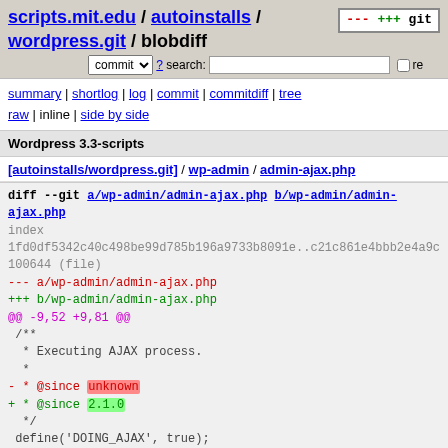scripts.mit.edu / autoinstalls / wordpress.git / blobdiff
summary | shortlog | log | commit | commitdiff | tree
raw | inline | side by side
Wordpress 3.3-scripts
[autoinstalls/wordpress.git] / wp-admin / admin-ajax.php
diff --git a/wp-admin/admin-ajax.php b/wp-admin/admin-ajax.php
index 1fd0df5342c40c498be99d785b196a9733b8091e..c21c861e4bbb2e4a9c
100644 (file)
--- a/wp-admin/admin-ajax.php
+++ b/wp-admin/admin-ajax.php
@@ -9,52 +9,81 @@
 /**
  * Executing AJAX process.
  *
 - * @since unknown
 + * @since 2.1.0
  */
 define('DOING_AJAX', true);
 define('WP_ADMIN', true);

+if ( !isset( $_REQUEST['action'] ) )